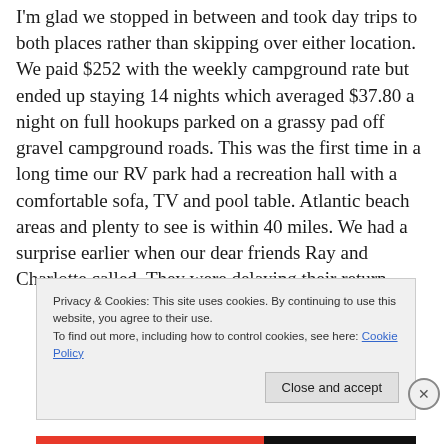I'm glad we stopped in between and took day trips to both places rather than skipping over either location. We paid $252 with the weekly campground rate but ended up staying 14 nights which averaged $37.80 a night on full hookups parked on a grassy pad off gravel campground roads. This was the first time in a long time our RV park had a recreation hall with a comfortable sofa, TV and pool table. Atlantic beach areas and plenty to see is within 40 miles. We had a surprise earlier when our dear friends Ray and Charlotte called. They were delaying their return
Privacy & Cookies: This site uses cookies. By continuing to use this website, you agree to their use.
To find out more, including how to control cookies, see here: Cookie Policy